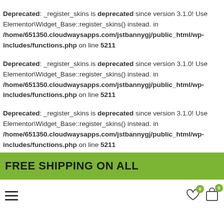Deprecated: _register_skins is deprecated since version 3.1.0! Use Elementor\Widget_Base::register_skins() instead. in /home/651350.cloudwaysapps.com/jstbannygj/public_html/wp-includes/functions.php on line 5211
Deprecated: _register_skins is deprecated since version 3.1.0! Use Elementor\Widget_Base::register_skins() instead. in /home/651350.cloudwaysapps.com/jstbannygj/public_html/wp-includes/functions.php on line 5211
Deprecated: _register_skins is deprecated since version 3.1.0! Use Elementor\Widget_Base::register_skins() instead. in /home/651350.cloudwaysapps.com/jstbannygj/public_html/wp-includes/functions.php on line 5211
FREE SHIPPING ON ALL
[Figure (other): Navigation bar with hamburger menu icon on left and heart/cart icons with badge counts of 0 on right]